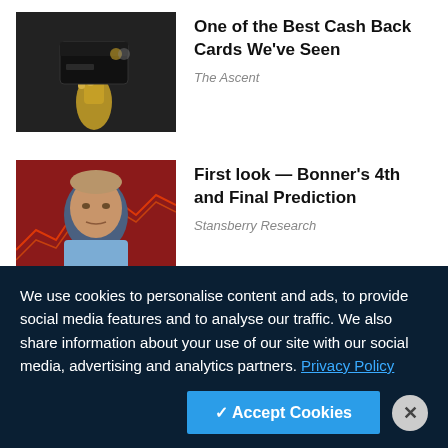[Figure (photo): Dark background with a gold hand holding a black credit card]
One of the Best Cash Back Cards We've Seen
The Ascent
[Figure (photo): Older man in a blue shirt against a red financial chart background]
First look — Bonner's 4th and Final Prediction
Stansberry Research
[Figure (photo): Man in suit gesturing with hands against a blue stock market background]
Motley Fool Issues Rare "All In" Buy Alert
The Motley Fool
We use cookies to personalise content and ads, to provide social media features and to analyse our traffic. We also share information about your use of our site with our social media, advertising and analytics partners. Privacy Policy